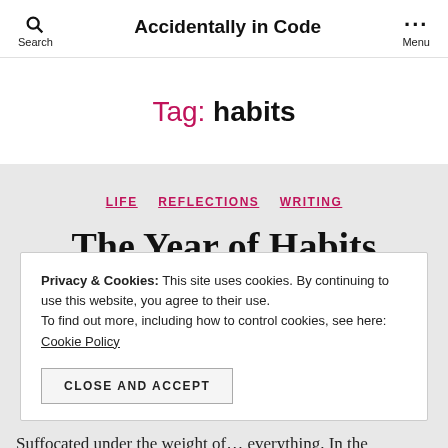Accidentally in Code
Tag: habits
LIFE  REFLECTIONS  WRITING
The Year of Habits
Privacy & Cookies: This site uses cookies. By continuing to use this website, you agree to their use. To find out more, including how to control cookies, see here: Cookie Policy
CLOSE AND ACCEPT
Suffocated under the weight of… everything. In the